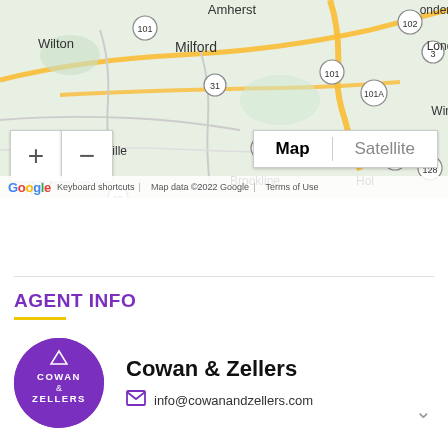[Figure (map): Google Map showing area around Milford, NH with surrounding towns: Amherst, Londonderry, Wilton, Milford, Brookline, Hol(lis), Greenville, Windham. Road routes 101, 31, 13, 3, 101A, 111, 128, 102 visible. Map controls with + and - zoom buttons and Map/Satellite toggle.]
AGENT INFO
[Figure (logo): Purple circle logo with white text: triangle icon, COWAN & ZELLERS]
Cowan & Zellers
info@cowanandzellers.com